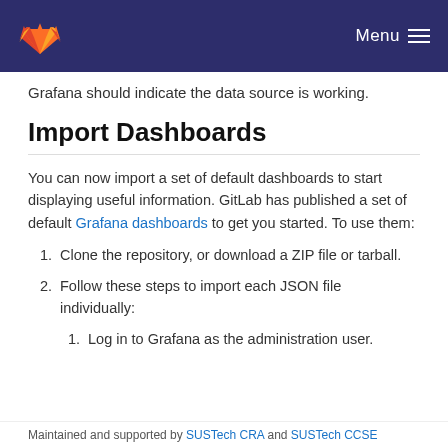Menu
Grafana should indicate the data source is working.
Import Dashboards
You can now import a set of default dashboards to start displaying useful information. GitLab has published a set of default Grafana dashboards to get you started. To use them:
1. Clone the repository, or download a ZIP file or tarball.
2. Follow these steps to import each JSON file individually:
1. Log in to Grafana as the administration user.
Maintained and supported by SUSTech CRA and SUSTech CCSE